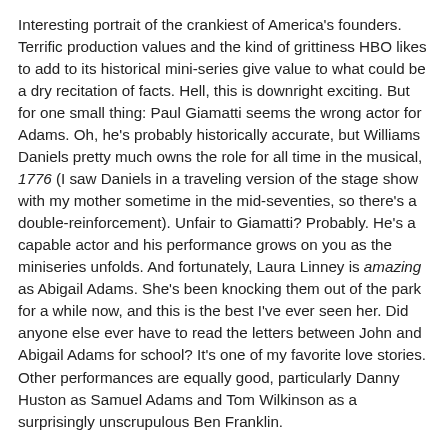Interesting portrait of the crankiest of America's founders. Terrific production values and the kind of grittiness HBO likes to add to its historical mini-series give value to what could be a dry recitation of facts. Hell, this is downright exciting. But for one small thing: Paul Giamatti seems the wrong actor for Adams. Oh, he's probably historically accurate, but Williams Daniels pretty much owns the role for all time in the musical, 1776 (I saw Daniels in a traveling version of the stage show with my mother sometime in the mid-seventies, so there's a double-reinforcement). Unfair to Giamatti? Probably. He's a capable actor and his performance grows on you as the miniseries unfolds. And fortunately, Laura Linney is amazing as Abigail Adams. She's been knocking them out of the park for a while now, and this is the best I've ever seen her. Did anyone else ever have to read the letters between John and Abigail Adams for school? It's one of my favorite love stories. Other performances are equally good, particularly Danny Huston as Samuel Adams and Tom Wilkinson as a surprisingly unscrupulous Ben Franklin.
I'm listing the episodes as individual films because, for the most part, they feel like individuals, especially the long...